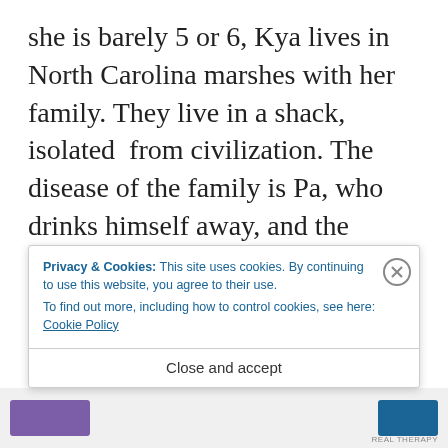she is barely 5 or 6, Kya lives in North Carolina marshes with her family. They live in a shack, isolated  from civilization. The disease of the family is Pa, who drinks himself away, and the burden is on their mother’s shoulders. One day mother walks away. Kya spends the rest of her life instinctively believing her mum will come back. It broke my heart to read it, but as I said, it never becomes cringe, so natural and
[Figure (screenshot): Cookie consent banner overlay with text: 'Privacy & Cookies: This site uses cookies. By continuing to use this website, you agree to their use. To find out more, including how to control cookies, see here: Cookie Policy' with a close (X) button and a 'Close and accept' button below.]
[Figure (other): Bottom advertisement bar with a purple banner element on the left and a blue banner element on the right, with small text 'REAL THERAPY' on far right.]